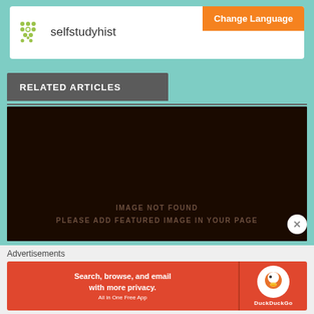[Figure (screenshot): Website header for selfstudyhistory with logo grid and Change Language orange button]
RELATED ARTICLES
[Figure (photo): Dark brown/black placeholder image with text IMAGE NOT FOUND PLEASE ADD FEATURED IMAGE IN YOUR PAGE]
Advertisements
[Figure (screenshot): DuckDuckGo advertisement banner: Search, browse, and email with more privacy. All in One Free App]